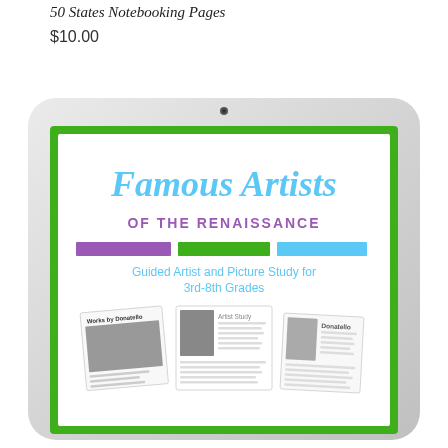50 States Notebooking Pages
$10.00
[Figure (illustration): An iPad tablet displaying a cover page for 'Famous Artists of the Renaissance - Guided Artist and Picture Study for 3rd-8th Grades' with colorful title text (blue cursive 'Famous Artists', purple 'OF THE RENAISSANCE'), three color bars (purple, green, blue), and preview thumbnail images of artist study worksheets including works by Donatello.]